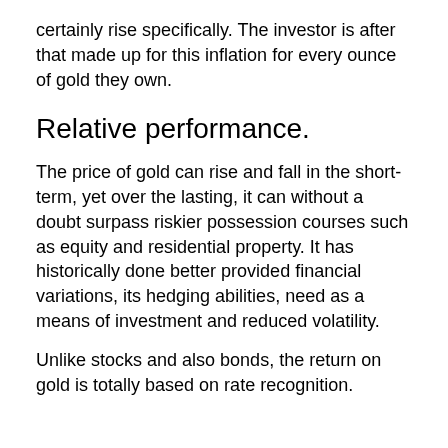certainly rise specifically. The investor is after that made up for this inflation for every ounce of gold they own.
Relative performance.
The price of gold can rise and fall in the short-term, yet over the lasting, it can without a doubt surpass riskier possession courses such as equity and residential property. It has historically done better provided financial variations, its hedging abilities, need as a means of investment and reduced volatility.
Unlike stocks and also bonds, the return on gold is totally based on rate recognition.